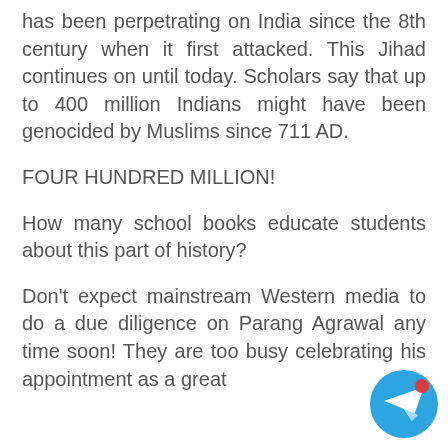has been perpetrating on India since the 8th century when it first attacked. This Jihad continues on until today. Scholars say that up to 400 million Indians might have been genocided by Muslims since 711 AD.
FOUR HUNDRED MILLION!
How many school books educate students about this part of history?
Don’t expect mainstream Western media to do a due diligence on Parang Agrawal any time soon! They are too busy celebrating his appointment as a great
[Figure (illustration): Telegram app icon button — circular blue background with white paper plane icon and red notification dot]